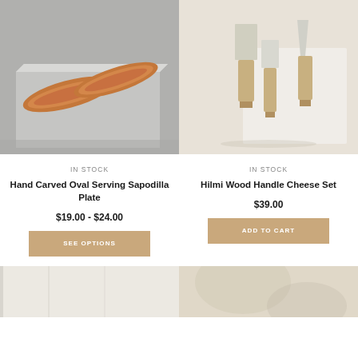[Figure (photo): Two wooden oval serving plates (Sapodilla wood) resting on a gray concrete block, warm brown tones]
[Figure (photo): Three cheese knives with wood handles on a cream linen background]
IN STOCK
Hand Carved Oval Serving Sapodilla Plate
$19.00 - $24.00
SEE OPTIONS
IN STOCK
Hilmi Wood Handle Cheese Set
$39.00
ADD TO CART
[Figure (photo): Bottom left product image, cream/white tones, partially visible]
[Figure (photo): Bottom right product image, warm beige tones with shadow, partially visible]